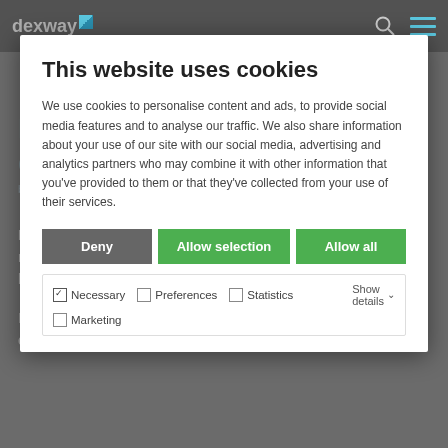[Figure (screenshot): Dexway website navigation bar with logo, search icon, and hamburger menu icon on dark grey background]
Learn Languages with dexway!
by Dexway Communication | Methodology
Do you want to learn another language? Does your current job require language knowledge or do you need to improve your language abilities so as to have more career options in the future?
If you answered yes to any of the above questions then dexway can help you out! We have the
This website uses cookies
We use cookies to personalise content and ads, to provide social media features and to analyse our traffic. We also share information about your use of our site with our social media, advertising and analytics partners who may combine it with other information that you've provided to them or that they've collected from your use of their services.
Deny | Allow selection | Allow all
Necessary | Preferences | Statistics | Marketing | Show details